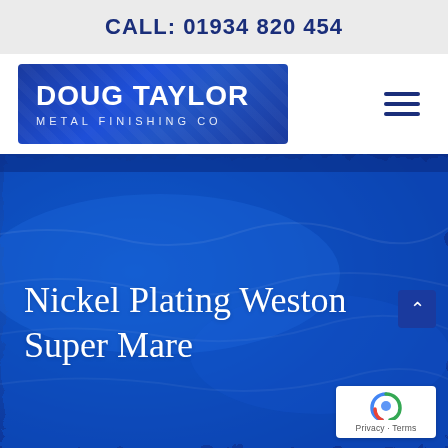CALL: 01934 820 454
[Figure (logo): Doug Taylor Metal Finishing Co logo — white text on blue gradient background]
Nickel Plating Weston Super Mare
[Figure (photo): Close-up photo of bright blue electro-plated metal surface with rippled texture]
Privacy · Terms